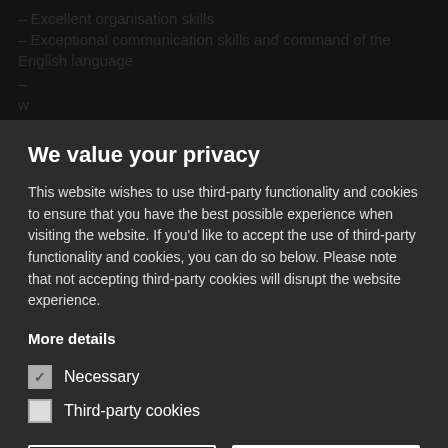– Excellent organisation skills
– Exceptional communication skills and command of the English language
Apply Now
We value your privacy
This website wishes to use third-party functionality and cookies to ensure that you have the best possible experience when visiting the website. If you'd like to accept the use of third-party functionality and cookies, you can do so below. Please note that not accepting third-party cookies will disrupt the website experience.
More details
Necessary
Third-party cookies
Accept selected
Accept all